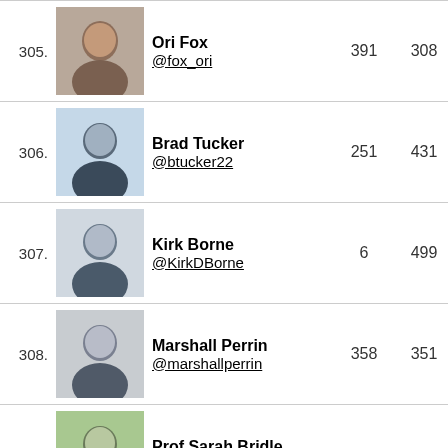| Rank | Photo | Name/Handle | Col1 | Col2 | Col3 | Col4 |
| --- | --- | --- | --- | --- | --- | --- |
| 305. |  | Ori Fox @fox_ori | 391 | 308 | 83 | 49 |
| 306. |  | Brad Tucker @btucker22 | 251 | 431 | -180 | 49 |
| 307. |  | Kirk Borne @KirkDBorne | 6 | 499 | -493 | 49 |
| 308. |  | Marshall Perrin @marshallperrin | 358 | 351 | 7 | 50 |
| 309. |  | Prof Sarah Bridle @sarahbridle | 356 | 355 | 1 | 50 |
| 310. |  | Tamara Davis @tamarastro | 345 | 373 | -28 | 50 |
| 311. |  | Dr. Emily Gilbert | 415 | 296 | 119 | 50 |